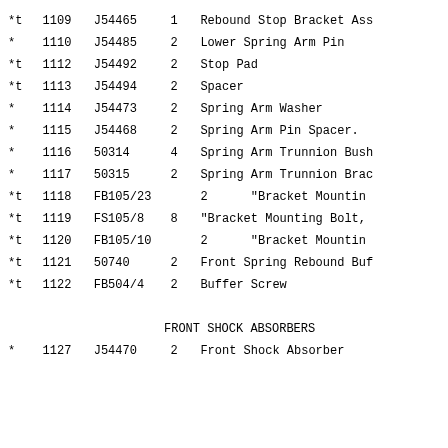| Ref | Item | Part No | Qty | Description |
| --- | --- | --- | --- | --- |
| *t | 1109 | J54465 | 1 | Rebound Stop Bracket Ass |
| * | 1110 | J54485 | 2 | Lower Spring Arm Pin |
| *t | 1112 | J54492 | 2 | Stop Pad |
| *t | 1113 | J54494 | 2 | Spacer |
| * | 1114 | J54473 | 2 | Spring Arm Washer |
| * | 1115 | J54468 | 2 | Spring Arm Pin Spacer. |
| * | 1116 | 50314 | 4 | Spring Arm Trunnion Bush |
| * | 1117 | 50315 | 2 | Spring Arm Trunnion Brac |
| *t | 1118 | FB105/23 | 2 | "Bracket Mountin |
| *t | 1119 | FS105/8 | 8 | "Bracket Mounting Bolt, |
| *t | 1120 | FB105/10 | 2 | "Bracket Mountin |
| *t | 1121 | 50740 | 2 | Front Spring Rebound Buf |
| *t | 1122 | FB504/4 | 2 | Buffer Screw |
FRONT SHOCK ABSORBERS
| Ref | Item | Part No | Qty | Description |
| --- | --- | --- | --- | --- |
| * | 1127 | J54470 | 2 | Front Shock Absorber |